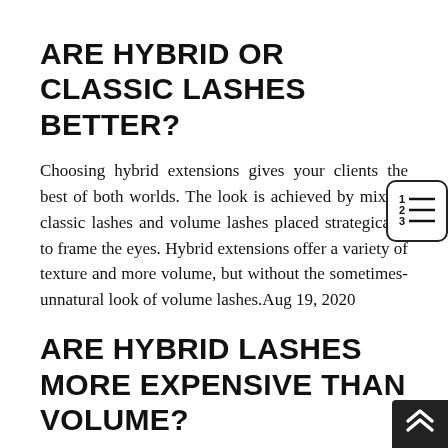ARE HYBRID OR CLASSIC LASHES BETTER?
Choosing hybrid extensions gives your clients the best of both worlds. The look is achieved by mixing classic lashes and volume lashes placed strategically to frame the eyes. Hybrid extensions offer a variety of texture and more volume, but without the sometimes-unnatural look of volume lashes.Aug 19, 2020
ARE HYBRID LASHES MORE EXPENSIVE THAN VOLUME?
Has a high price: The hybrid set may be costlier than classic eyelashes at most certified lash salons. But